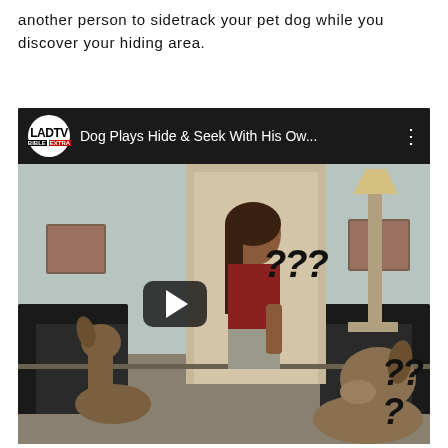another person to sidetrack your pet dog while you discover your hiding area.
[Figure (screenshot): YouTube-style embedded video thumbnail showing a woman peeking through a doorway in a living room while a dog looks confused, with question marks overlaid. The video is titled 'Dog Plays Hide & Seek With His Ow...' with the LADbible Extra logo.]